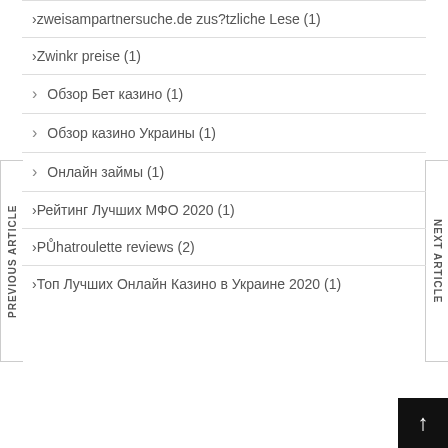zweisampartnersuche.de zus?tzliche Lese (1)
Zwinkr preise (1)
Обзор Бет казино (1)
Обзор казино Украины (1)
Онлайн займы (1)
Рейтинг Лучших МФО 2020 (1)
PŮhatroulette reviews (2)
Топ Лучших Онлайн Казино в Украине 2020 (1)